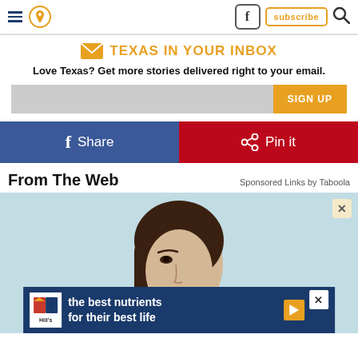Navigation header with hamburger, location icon, Facebook, subscribe, and search buttons
TEXAS IN YOUR INBOX
Love Texas? Get more stories delivered right to your email.
SIGN UP
f Share   Pin it
From The Web
Sponsored Links by Taboola
[Figure (photo): Young woman with dark hair against light blue background, with Hill's pet nutrition ad overlay reading 'the best nutrients for their best life']